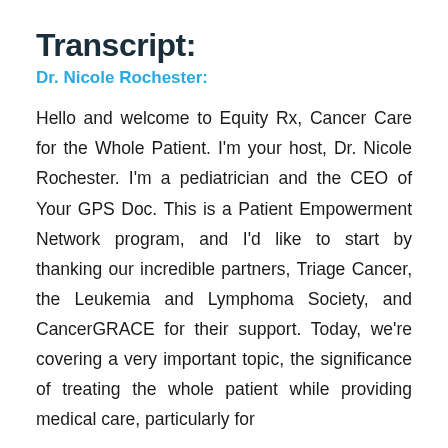Transcript:
Dr. Nicole Rochester:
Hello and welcome to Equity Rx, Cancer Care for the Whole Patient. I'm your host, Dr. Nicole Rochester. I'm a pediatrician and the CEO of Your GPS Doc. This is a Patient Empowerment Network program, and I'd like to start by thanking our incredible partners, Triage Cancer, the Leukemia and Lymphoma Society, and CancerGRACE for their support. Today, we're covering a very important topic, the significance of treating the whole patient while providing medical care, particularly for